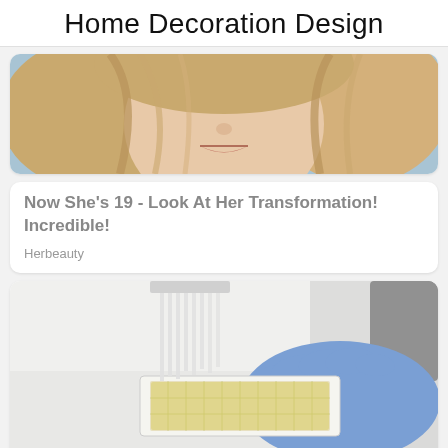Home Decoration Design
[Figure (photo): Close-up photo of a young woman with blonde wavy hair covering part of her face, neutral expression, light blue background]
Now She's 19 - Look At Her Transformation! Incredible!
Herbeauty
[Figure (photo): Laboratory photo showing a gloved hand in blue nitrile glove holding a microtiter/well plate with yellow liquid, a pipette above it, white background]
The Virus Living In A Person's Body Mutated Gaining New Symptoms